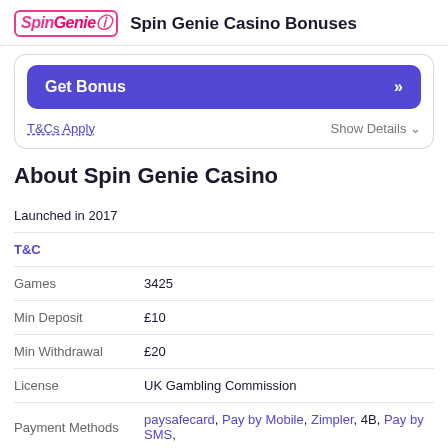SpinGenie  Spin Genie Casino Bonuses
Get Bonus »
T&Cs Apply    Show Details ˅
About Spin Genie Casino
|  |  |
| --- | --- |
| Launched in 2017 |  |
| T&C |  |
| Games | 3425 |
| Min Deposit | £10 |
| Min Withdrawal | £20 |
| License | UK Gambling Commission |
| Payment Methods | paysafecard, Pay by Mobile, Zimpler, 4B, Pay by SMS, |